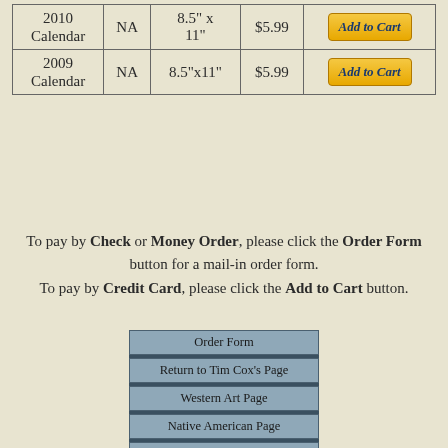|  |  |  |  |  |
| --- | --- | --- | --- | --- |
| 2010 Calendar | NA | 8.5" x 11" | $5.99 | Add to Cart |
| 2009 Calendar | NA | 8.5"x11" | $5.99 | Add to Cart |
To pay by Check or Money Order, please click the Order Form button for a mail-in order form. To pay by Credit Card, please click the Add to Cart button.
Order Form
Return to Tim Cox's Page
Western Art Page
Native American Page
Western Music Page
Western Book Page
Home Page
Contact Us